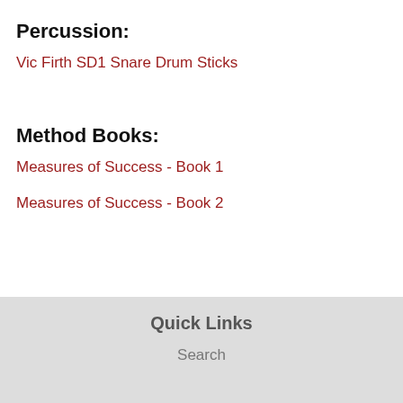Percussion:
Vic Firth SD1 Snare Drum Sticks
Method Books:
Measures of Success - Book 1
Measures of Success - Book 2
Quick Links
Search